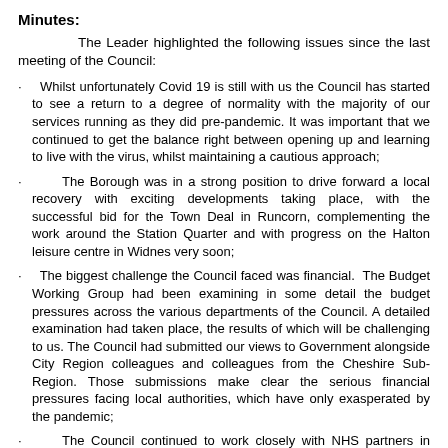Minutes:
The Leader highlighted the following issues since the last meeting of the Council:
Whilst unfortunately Covid 19 is still with us the Council has started to see a return to a degree of normality with the majority of our services running as they did pre-pandemic. It was important that we continued to get the balance right between opening up and learning to live with the virus, whilst maintaining a cautious approach;
The Borough was in a strong position to drive forward a local recovery with exciting developments taking place, with the successful bid for the Town Deal in Runcorn, complementing the work around the Station Quarter and with progress on the Halton leisure centre in Widnes very soon;
The biggest challenge the Council faced was financial. The Budget Working Group had been examining in some detail the budget pressures across the various departments of the Council. A detailed examination had taken place, the results of which will be challenging to us. The Council had submitted our views to Government alongside City Region colleagues and colleagues from the Cheshire Sub-Region. Those submissions make clear the serious financial pressures facing local authorities, which have only exasperated by the pandemic;
The Council continued to work closely with NHS partners in developing our response both locally and regionally to the requirements contained in the Health and Care Bill for the creation of an Integrated Care System through an Integrated Care Board,